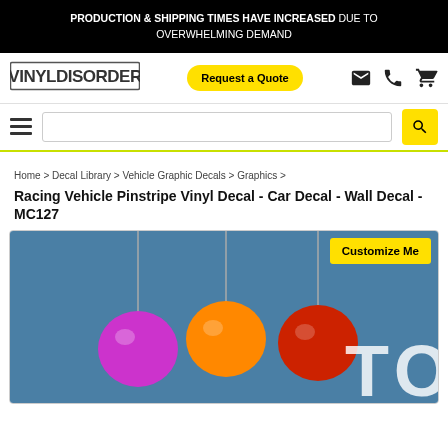PRODUCTION & SHIPPING TIMES HAVE INCREASED DUE TO OVERWHELMING DEMAND
[Figure (logo): Vinyl Disorder logo in bold outlined font]
Request a Quote
Hamburger menu and search bar with search button
Home > Decal Library > Vehicle Graphic Decals > Graphics >
Racing Vehicle Pinstripe Vinyl Decal - Car Decal - Wall Decal - MC127
[Figure (photo): Product photo showing three hanging pendant lamps (purple, orange, red) against a blue wall, with 'TO' text partially visible on the right side, and a yellow 'Customize Me' button overlay]